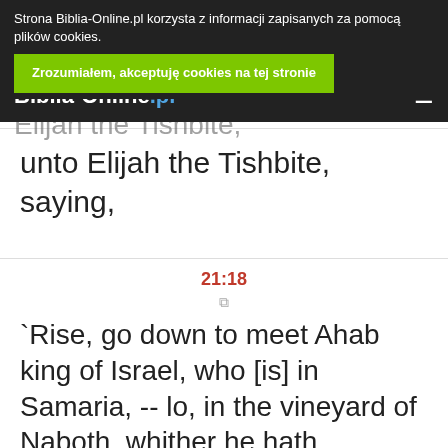Strona Biblia-Online.pl korzysta z informacji zapisanych za pomocą plików cookies.
Zrozumiałem, akceptuję cookies na tej stronie
Biblia-Online.pl
And the word of Jehovah is unto Elijah the Tishbite, saying,
21:18
`Rise, go down to meet Ahab king of Israel, who [is] in Samaria, -- lo, in the vineyard of Naboth, whither he hath